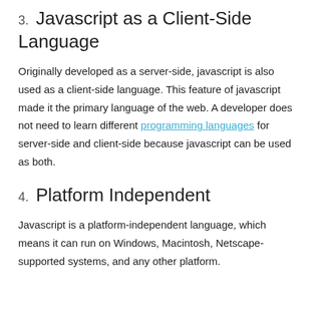3. Javascript as a Client-Side Language
Originally developed as a server-side, javascript is also used as a client-side language. This feature of javascript made it the primary language of the web. A developer does not need to learn different programming languages for server-side and client-side because javascript can be used as both.
4. Platform Independent
Javascript is a platform-independent language, which means it can run on Windows, Macintosh, Netscape-supported systems, and any other platform.